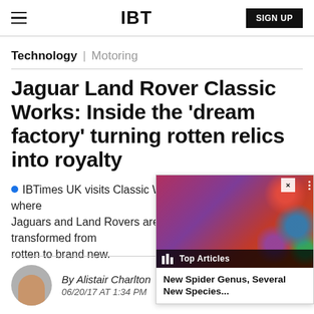IBT | SIGN UP
Technology | Motoring
Jaguar Land Rover Classic Works: Inside the ‘dream factory’ turning rotten relics into royalty
IBTimes UK visits Classic Works, where Jaguars and Land Rovers are transformed from rotten to brand new.
[Figure (screenshot): Overlay widget showing Top Articles with 'New Spider Genus, Several New Species...' caption over a colorful background image]
By Alistair Charlton
06/20/17 AT 1:34 PM